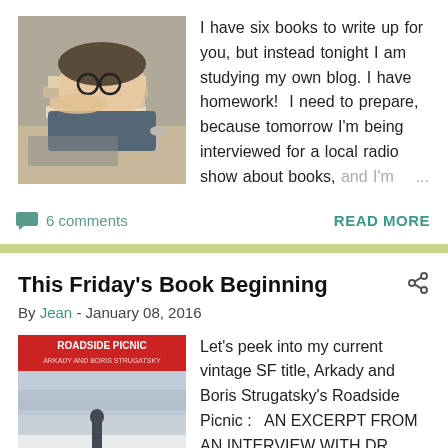[Figure (photo): Person lying face down on a stack of books, wearing glasses, surrounded by papers and a spoon on a desk]
I have six books to write up for you, but instead tonight I am studying my own blog. I have homework!  I need to prepare, because tomorrow I'm being interviewed for a local radio show about books, and I'm   ...
6 comments
READ MORE
This Friday's Book Beginning
By Jean - January 08, 2016
[Figure (photo): Book cover of Roadside Picnic by Arkady and Boris Strugatsky, showing a figure in a snowy or misty landscape]
Let's peek into my current vintage SF title, Arkady and Boris Strugatsky's Roadside Picnic :   AN EXCERPT FROM AN INTERVIEW WITH DR VALENTINE PILLMAN BY A CORRESPONDENT FROM HARMON   ...